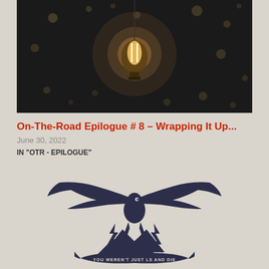[Figure (photo): Dark moody photograph of a vintage Edison-style incandescent light bulb glowing against a dark black background with soft bokeh light dots]
On-The-Road Epilogue # 8 – Wrapping It Up...
June 30, 2022
IN "OTR - EPILOGUE"
[Figure (illustration): Black and white illustration of an eagle with spread wings perched on a mountain peak with lightning bolts, with a banner ribbon reading 'YOU WEREN'T JUST... AND DIE']